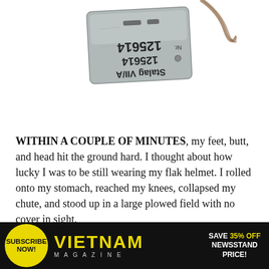[Figure (photo): A metal dog tag from Stalag VII/A prisoner of war camp, showing the number 125614, photographed upside down. The tag appears worn and has rectangular holes/slots.]
WITHIN A COUPLE OF MINUTES, my feet, butt, and head hit the ground hard. I thought about how lucky I was to be still wearing my flak helmet. I rolled onto my stomach, reached my knees, collapsed my chute, and stood up in a large plowed field with no cover in sight.
After the bailout, the seven Ole Worrybird
[Figure (infographic): Advertisement banner for Vietnam Magazine. Yellow circle with 'SUBSCRIBE NOW!' text, large yellow 'VIETNAM' title text on black background, and 'SAVE 35% OFF NEWSSTAND PRICE!' offer text.]